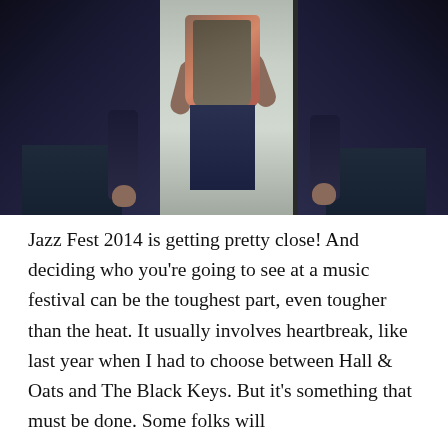[Figure (photo): Three people standing together in a doorway or narrow passage. Two people in dark suits flank a person in the center wearing a colorful patterned top and vest. The lighting is dim, with light coming from behind the center figure.]
Jazz Fest 2014 is getting pretty close! And deciding who you're going to see at a music festival can be the toughest part, even tougher than the heat. It usually involves heartbreak, like last year when I had to choose between Hall & Oats and The Black Keys. But it's something that must be done. Some folks will